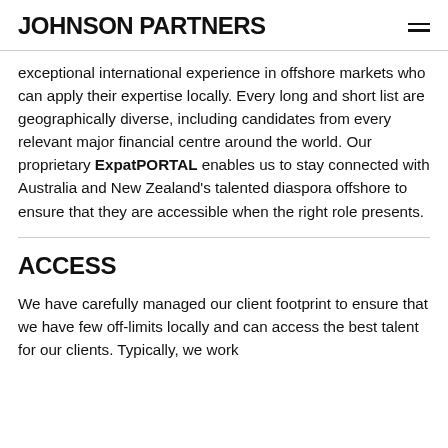JOHNSON PARTNERS
exceptional international experience in offshore markets who can apply their expertise locally. Every long and short list are geographically diverse, including candidates from every relevant major financial centre around the world. Our proprietary ExpatPORTAL enables us to stay connected with Australia and New Zealand's talented diaspora offshore to ensure that they are accessible when the right role presents.
ACCESS
We have carefully managed our client footprint to ensure that we have few off-limits locally and can access the best talent for our clients. Typically, we work